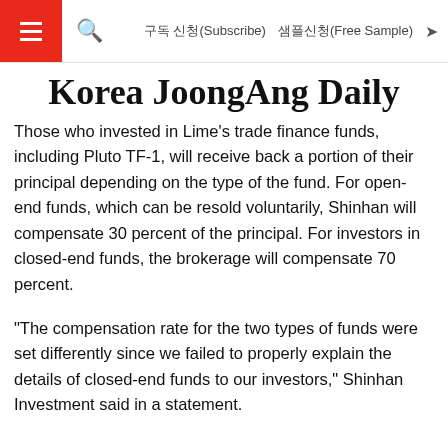구독 신청(Subscribe)  샘플신청(Free Sample)
Korea JoongAng Daily
Those who invested in Lime's trade finance funds, including Pluto TF-1, will receive back a portion of their principal depending on the type of the fund. For open-end funds, which can be resold voluntarily, Shinhan will compensate 30 percent of the principal. For investors in closed-end funds, the brokerage will compensate 70 percent.
"The compensation rate for the two types of funds were set differently since we failed to properly explain the details of closed-end funds to our investors," Shinhan Investment said in a statement.